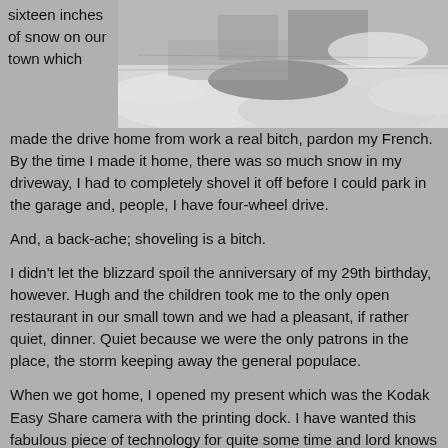sixteen inches of snow on our town which
[Figure (photo): Black and white photo of snow-covered scene, possibly a driveway or yard buried in snow]
made the drive home from work a real bitch, pardon my French. By the time I made it home, there was so much snow in my driveway, I had to completely shovel it off before I could park in the garage and, people, I have four-wheel drive.
And, a back-ache; shoveling is a bitch.
I didn't let the blizzard spoil the anniversary of my 29th birthday, however. Hugh and the children took me to the only open restaurant in our small town and we had a pleasant, if rather quiet, dinner. Quiet because we were the only patrons in the place, the storm keeping away the general populace.
When we got home, I opened my present which was the Kodak Easy Share camera with the printing dock. I have wanted this fabulous piece of technology for quite some time and lord knows I dropped enough hints which, to his credit, Hugh did indeed pick up on. Of course, he assured me that